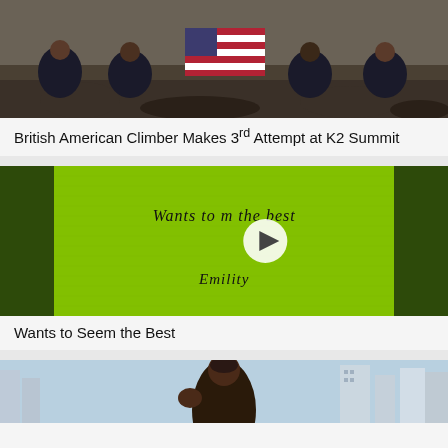[Figure (photo): Group of people sitting on rocky ground holding an American flag]
British American Climber Makes 3rd Attempt at K2 Summit
[Figure (photo): Video thumbnail showing green fabric with cursive text 'Wants to seem the best' and 'Emility', with a play button overlay. Dark green borders on left and right sides.]
Wants to Seem the Best
[Figure (photo): Partial photo showing a woman with braided hair against a city skyline background]